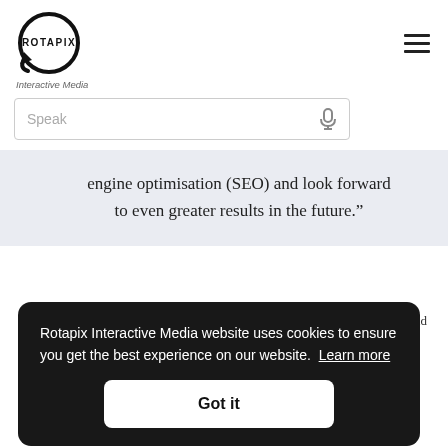[Figure (logo): Rotapix Interactive Media logo: circular arrow icon with ROTAPIX text inside, and 'Interactive Media' tagline below]
Speak
engine optimisation (SEO) and look forward to even greater results in the future.”
Rotapix Interactive Media website uses cookies to ensure you get the best experience on our website. Learn more
Got it